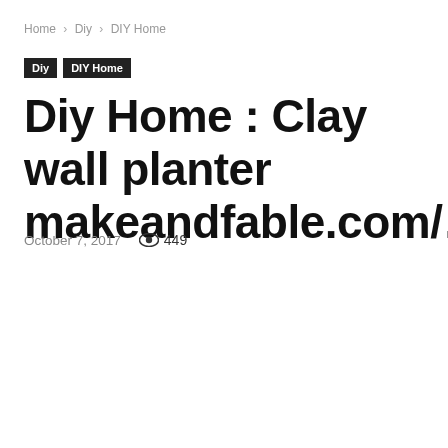Home › Diy › DIY Home
Diy
DIY Home
Diy Home : Clay wall planter makeandfable.com/……
October 7, 2017   449